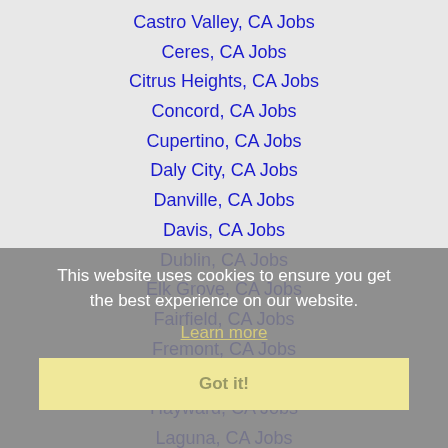Castro Valley, CA Jobs
Ceres, CA Jobs
Citrus Heights, CA Jobs
Concord, CA Jobs
Cupertino, CA Jobs
Daly City, CA Jobs
Danville, CA Jobs
Davis, CA Jobs
Dublin, CA Jobs
Elk Grove, CA Jobs
Fairfield, CA Jobs
Fremont, CA Jobs
Gilroy, CA Jobs
Hayward, CA Jobs
Laguna, CA Jobs
Livermore, CA Jobs
Lodi, CA Jobs
Manteca, CA Jobs
This website uses cookies to ensure you get the best experience on our website. Learn more Got it!